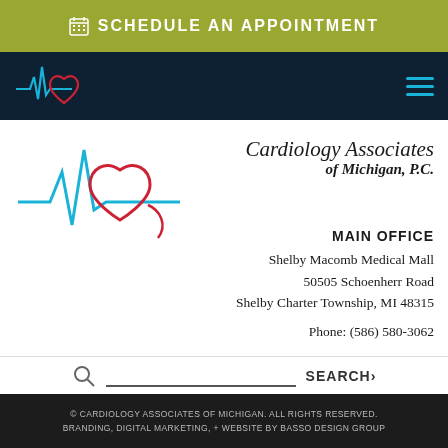SCHEDULE AN APPOINTMENT
[Figure (logo): Cardiology Associates of Michigan logo in nav bar - small white version with heart and ECG line]
[Figure (logo): Cardiology Associates of Michigan, P.C. large logo with red heart, ECG/heartbeat line in cyan/blue and red accents]
MAIN OFFICE
Shelby Macomb Medical Mall
50505 Schoenherr Road
Shelby Charter Township, MI 48315

Phone: (586) 580-3062
SEARCH
© CARDIOLOGY ASSOCIATES OF MICHIGAN. ALL RIGHTS RESERVED. BRANDING, DIGITAL MARKETING, + WEBSITE BY BASSO DESIGN GROUP